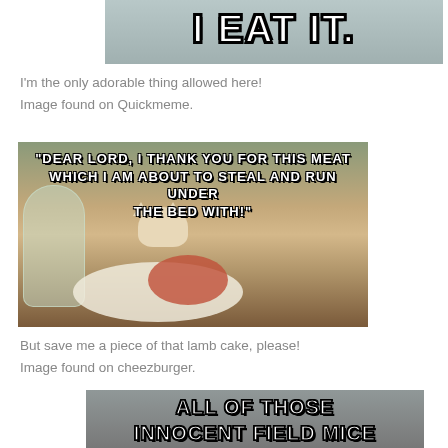[Figure (photo): Meme image (partial, top): bold white Impact text 'I EAT IT.' on a photographic background]
I'm the only adorable thing allowed here!
Image found on Quickmeme.
[Figure (photo): Cat meme: white cat peeking over a dinner table with a plate of meat; white Impact text overlay reads: "DEAR LORD, I THANK YOU FOR THIS MEAT WHICH I AM ABOUT TO STEAL AND RUN UNDER THE BED WITH!"]
But save me a piece of that lamb cake, please!
Image found on cheezburger.
[Figure (photo): Meme image (partial, bottom): bold white Impact text 'ALL OF THOSE INNOCENT FIELD MICE' on a photographic background]